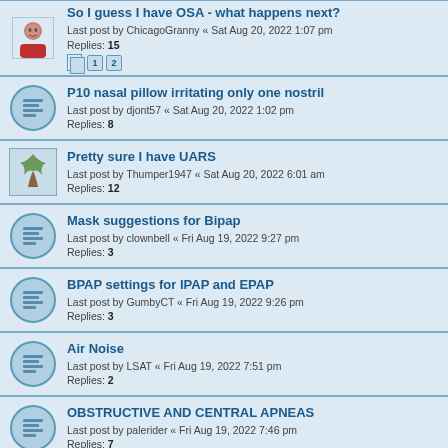So I guess I have OSA - what happens next? Last post by ChicagoGranny « Sat Aug 20, 2022 1:07 pm Replies: 15
P10 nasal pillow irritating only one nostril Last post by djont57 « Sat Aug 20, 2022 1:02 pm Replies: 8
Pretty sure I have UARS Last post by Thumper1947 « Sat Aug 20, 2022 6:01 am Replies: 12
Mask suggestions for Bipap Last post by clownbell « Fri Aug 19, 2022 9:27 pm Replies: 3
BPAP settings for IPAP and EPAP Last post by GumbyCT « Fri Aug 19, 2022 9:26 pm Replies: 3
Air Noise Last post by LSAT « Fri Aug 19, 2022 7:51 pm Replies: 2
OBSTRUCTIVE AND CENTRAL APNEAS Last post by palerider « Fri Aug 19, 2022 7:46 pm Replies: 7
Esophagus Stomach Pain? Last post by Julie « Fri Aug 19, 2022 7:12 pm Replies: 9
UPS question: does the Airsense 10 require true sine wave power? Last post by turbo « Fri Aug 19, 2022 5:06 pm Replies: 32